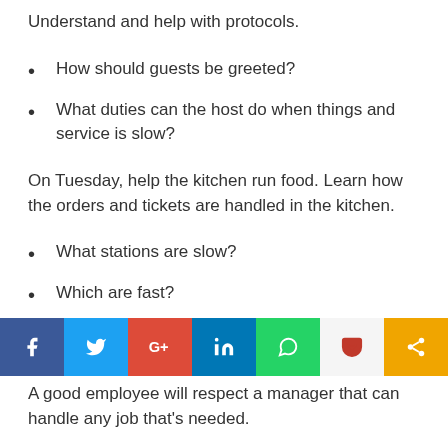Understand and help with protocols.
How should guests be greeted?
What duties can the host do when things and service is slow?
On Tuesday, help the kitchen run food. Learn how the orders and tickets are handled in the kitchen.
What stations are slow?
Which are fast?
How can this information be related to service staff so operations run smoother?
[Figure (infographic): Social media sharing bar with icons for Facebook, Twitter, Google+, LinkedIn, WhatsApp, Pocket, and Share]
A good employee will respect a manager that can handle any job that's needed.